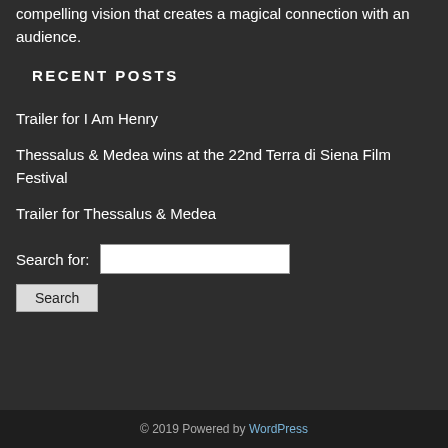compelling vision that creates a magical connection with an audience.
RECENT POSTS
Trailer for I Am Henry
Thessalus & Medea wins at the 22nd Terra di Siena Film Festival
Trailer for Thessalus & Medea
Search for: [input] Search
© 2019 Powered by WordPress